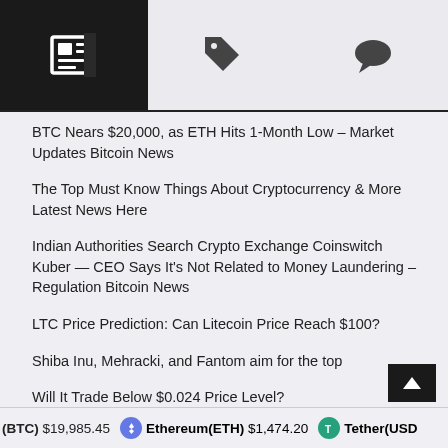[Figure (screenshot): Navigation bar with three icons: newspaper/feed icon (active, dark background), tag/price icon, and chat/comment icon]
BTC Nears $20,000, as ETH Hits 1-Month Low – Market Updates Bitcoin News
The Top Must Know Things About Cryptocurrency & More Latest News Here
Indian Authorities Search Crypto Exchange Coinswitch Kuber — CEO Says It's Not Related to Money Laundering – Regulation Bitcoin News
LTC Price Prediction: Can Litecoin Price Reach $100?
Shiba Inu, Mehracki, and Fantom aim for the top
Will It Trade Below $0.024 Price Level?
The speakers at Plan   Forum in Lugano
(BTC) $19,985.45   Ethereum(ETH) $1,474.20   Tether(USD